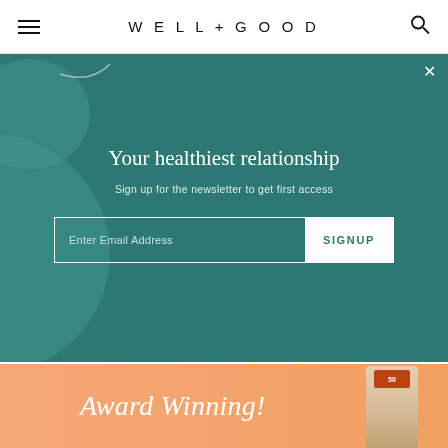WELL+GOOD
Your healthiest relationship
Sign up for the newsletter to get first access
[Figure (screenshot): Email signup form with 'Enter Email Address' input and 'SIGNUP' button on teal background]
[Figure (screenshot): YouTube video thumbnail showing a woman doing a reverse lunge exercise with text overlay 'THE RIGHT WAY TO DO A REVERSE LUNGE' on orange and pink background with YouTube play button]
[Figure (screenshot): Award Winning product banner with peach/salmon background and product image on right]